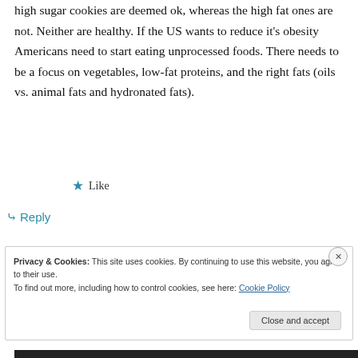high sugar cookies are deemed ok, whereas the high fat ones are not. Neither are healthy. If the US wants to reduce it's obesity Americans need to start eating unprocessed foods. There needs to be a focus on vegetables, low-fat proteins, and the right fats (oils vs. animal fats and hydronated fats).
★ Like
↪ Reply
Privacy & Cookies: This site uses cookies. By continuing to use this website, you agree to their use. To find out more, including how to control cookies, see here: Cookie Policy
Close and accept